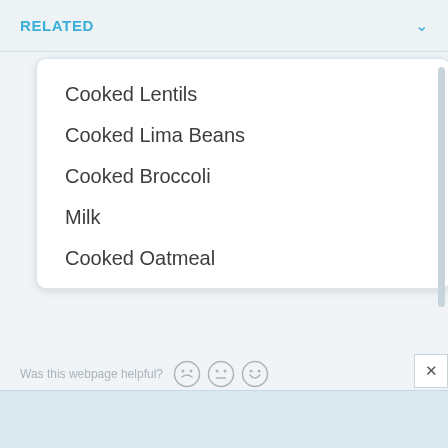RELATED
Cooked Lentils
Cooked Lima Beans
Cooked Broccoli
Milk
Cooked Oatmeal
Was this webpage helpful?